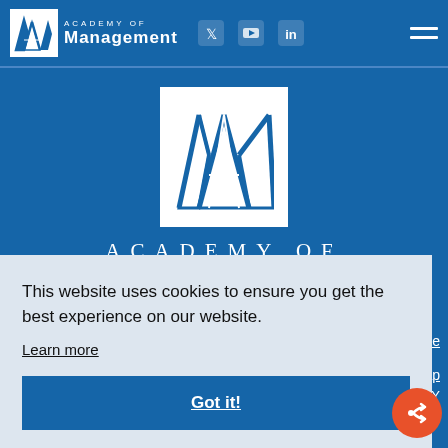[Figure (logo): Academy of Management logo with stylized mountain/triangle M shape in white box, text 'ACADEMY OF Management' in white next to it]
[Figure (logo): Large Academy of Management logo — blue mountain/triangle M symbol in white square box, centered on blue background]
ACADEMY OF
This website uses cookies to ensure you get the best experience on our website.
Learn more
Got it!
Use
emap
, NY